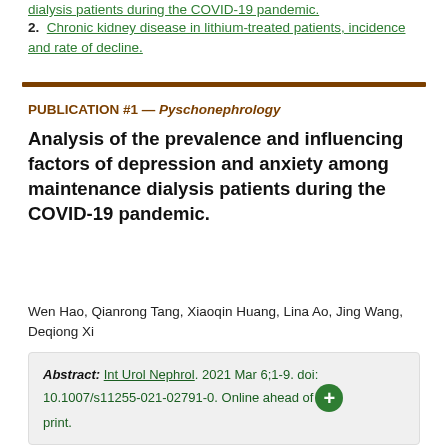dialysis patients during the COVID-19 pandemic.
2. Chronic kidney disease in lithium-treated patients, incidence and rate of decline.
PUBLICATION #1 — Pyschonephrology
Analysis of the prevalence and influencing factors of depression and anxiety among maintenance dialysis patients during the COVID-19 pandemic.
Wen Hao, Qianrong Tang, Xiaoqin Huang, Lina Ao, Jing Wang, Deqiong Xi
Abstract: Int Urol Nephrol. 2021 Mar 6;1-9. doi: 10.1007/s11255-021-02791-0. Online ahead of print.